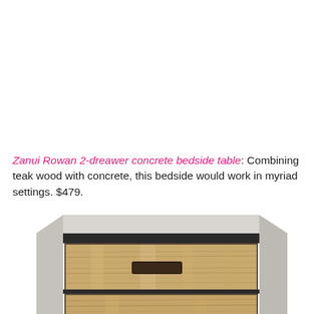Zanui Rowan 2-dreawer concrete bedside table: Combining teak wood with concrete, this bedside would work in myriad settings. $479.
[Figure (photo): Close-up photo of a Zanui Rowan 2-drawer concrete bedside table showing the concrete top and teak wood drawer fronts with a dark rectangular handle on the upper drawer.]